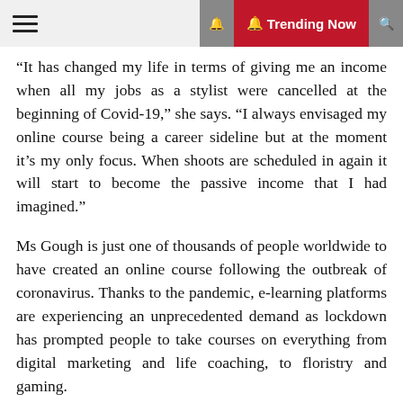☰  🔔 Trending Now  🔍
“It has changed my life in terms of giving me an income when all my jobs as a stylist were cancelled at the beginning of Covid-19,” she says. “I always envisaged my online course being a career sideline but at the moment it’s my only focus. When shoots are scheduled in again it will start to become the passive income that I had imagined.”
Ms Gough is just one of thousands of people worldwide to have created an online course following the outbreak of coronavirus. Thanks to the pandemic, e-learning platforms are experiencing an unprecedented demand as lockdown has prompted people to take courses on everything from digital marketing and life coaching, to floristry and gaming.
Even before the coronavirus crisis, the value of the sector was forecast to jump to $300bn (£250bn) by 2025, up from $190bn in 2018, according to the research firm Global Market Insights.